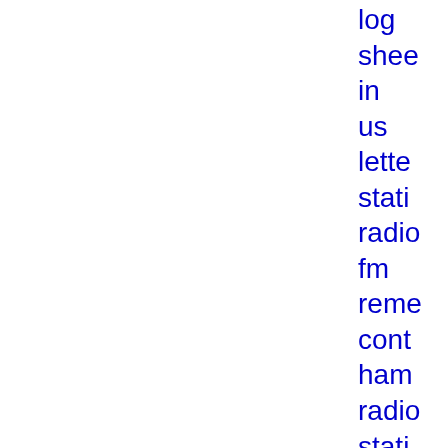log
shee
in
us
lette
stati
radio
fm
reme
cont
ham
radio
stati
elf
stati
stati
fm
stati
log
mult
av
stati
numb